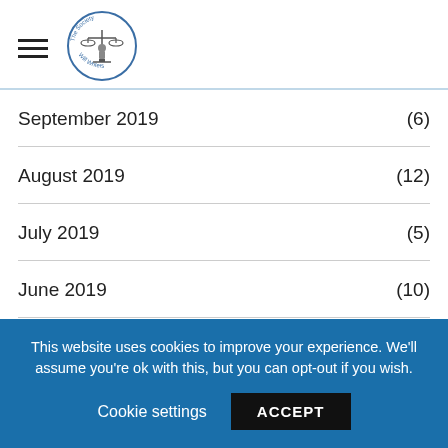The Society of Will Writers - navigation header with logo
September 2019 (6)
August 2019 (12)
July 2019 (5)
June 2019 (10)
May 2019 (6)
April 2019 (4)
This website uses cookies to improve your experience. We'll assume you're ok with this, but you can opt-out if you wish. Cookie settings ACCEPT